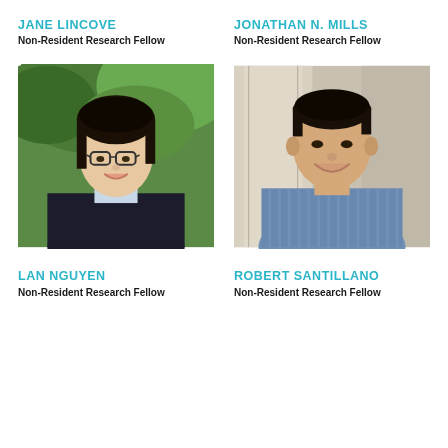JANE LINCOVE
Non-Resident Research Fellow
JONATHAN N. MILLS
Non-Resident Research Fellow
[Figure (photo): Professional headshot of Lan Nguyen, an Asian woman with glasses and dark hair, wearing a dark blazer over a light blue top, smiling outdoors with green foliage in background]
[Figure (photo): Professional headshot of Robert Santillano, a man smiling, wearing a light blue striped button-up shirt, standing in front of stone architectural columns]
LAN NGUYEN
Non-Resident Research Fellow
ROBERT SANTILLANO
Non-Resident Research Fellow